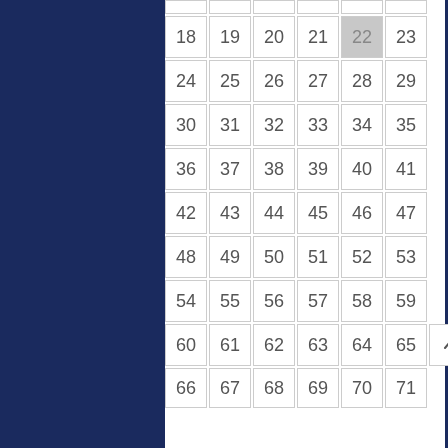| 18 | 19 | 20 | 21 | 22 | 23 |
| 24 | 25 | 26 | 27 | 28 | 29 |
| 30 | 31 | 32 | 33 | 34 | 35 |
| 36 | 37 | 38 | 39 | 40 | 41 |
| 42 | 43 | 44 | 45 | 46 | 47 |
| 48 | 49 | 50 | 51 | 52 | 53 |
| 54 | 55 | 56 | 57 | 58 | 59 |
| 60 | 61 | 62 | 63 | 64 | 65 | ↑ |
| 66 | 67 | 68 | 69 | 70 | 71 |